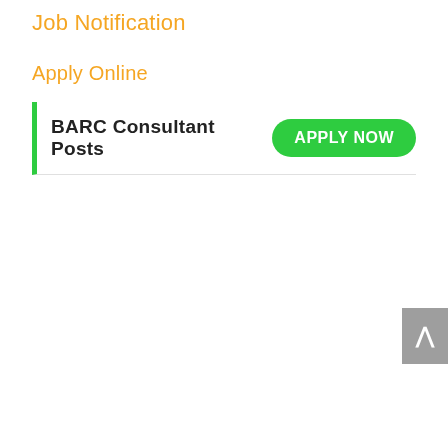Job Notification
Apply Online
BARC Consultant Posts  APPLY NOW
[Figure (screenshot): Scroll to top button with upward arrow chevron, grey background, positioned at right edge of page]